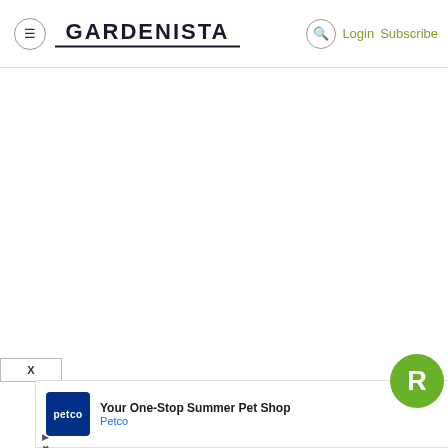GARDENISTA — Login Subscribe
[Figure (screenshot): White empty main content area of Gardenista website]
[Figure (screenshot): Ad banner for Petco: 'Your One-Stop Summer Pet Shop' with Petco logo, navigation icon, and green R badge overlay. Close bar with X button above.]